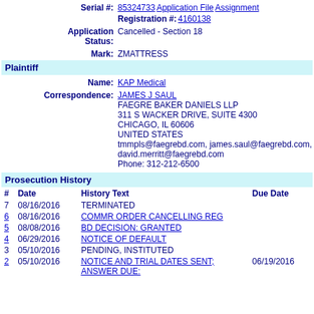Serial #: 85324733 Application File Assignment Registration #: 4160138
Application Status: Cancelled - Section 18
Mark: ZMATTRESS
Plaintiff
Name: KAP Medical
Correspondence: JAMES J SAUL
FAEGRE BAKER DANIELS LLP
311 S WACKER DRIVE, SUITE 4300
CHICAGO, IL 60606
UNITED STATES
tmmpls@faegrebd.com, james.saul@faegrebd.com, david.merritt@faegrebd.com
Phone: 312-212-6500
Prosecution History
| # | Date | History Text | Due Date |
| --- | --- | --- | --- |
| 7 | 08/16/2016 | TERMINATED |  |
| 6 | 08/16/2016 | COMMR ORDER CANCELLING REG |  |
| 5 | 08/08/2016 | BD DECISION: GRANTED |  |
| 4 | 06/29/2016 | NOTICE OF DEFAULT |  |
| 3 | 05/10/2016 | PENDING, INSTITUTED |  |
| 2 | 05/10/2016 | NOTICE AND TRIAL DATES SENT; ANSWER DUE: | 06/19/2016 |